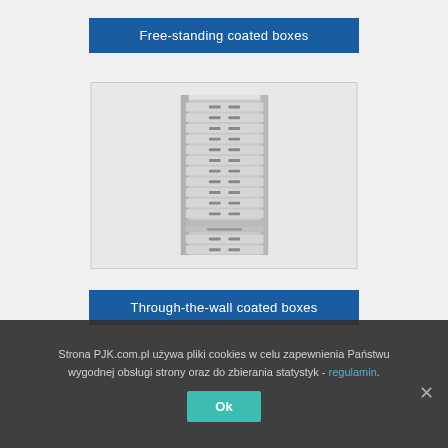Free-standing coated boxes
[Figure (photo): A tall free-standing metal drawer cabinet with multiple rows of narrow drawers with small handles, shown against a light background.]
Through-the-wall coated boxes
Strona PJK.com.pl używa pliki cookies w celu zapewnienia Państwu wygodnej obsługi strony oraz do zbierania statystyk - regulamin.
Ok